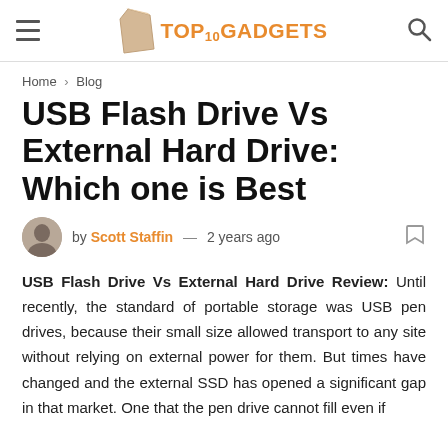TOP10GADGETS
Home › Blog
USB Flash Drive Vs External Hard Drive: Which one is Best
by Scott Staffin — 2 years ago
USB Flash Drive Vs External Hard Drive Review: Until recently, the standard of portable storage was USB pen drives, because their small size allowed transport to any site without relying on external power for them. But times have changed and the external SSD has opened a significant gap in that market. One that the pen drive cannot fill even if